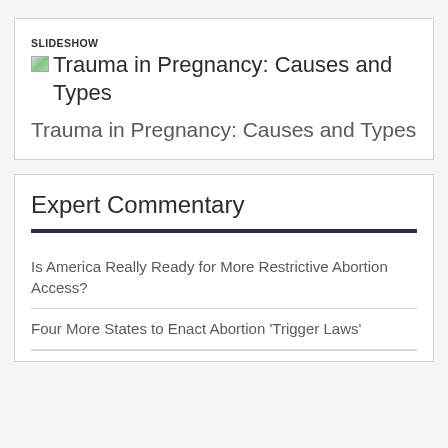SLIDESHOW
Trauma in Pregnancy: Causes and Types
Trauma in Pregnancy: Causes and Types
Expert Commentary
Is America Really Ready for More Restrictive Abortion Access?
Four More States to Enact Abortion 'Trigger Laws'